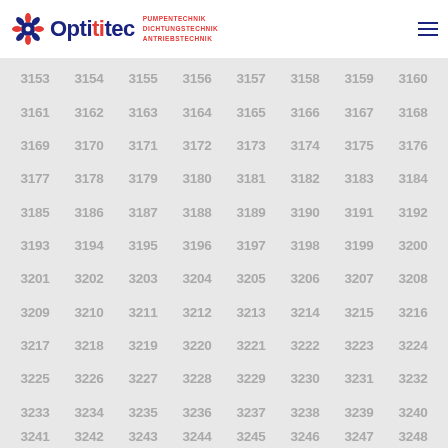Optitec — PUMPENTECHNIK DICHTUNGSTECHNIK ANTRIEBSTECHNIK
| 3153 | 3154 | 3155 | 3156 | 3157 | 3158 | 3159 | 3160 |
| 3161 | 3162 | 3163 | 3164 | 3165 | 3166 | 3167 | 3168 |
| 3169 | 3170 | 3171 | 3172 | 3173 | 3174 | 3175 | 3176 |
| 3177 | 3178 | 3179 | 3180 | 3181 | 3182 | 3183 | 3184 |
| 3185 | 3186 | 3187 | 3188 | 3189 | 3190 | 3191 | 3192 |
| 3193 | 3194 | 3195 | 3196 | 3197 | 3198 | 3199 | 3200 |
| 3201 | 3202 | 3203 | 3204 | 3205 | 3206 | 3207 | 3208 |
| 3209 | 3210 | 3211 | 3212 | 3213 | 3214 | 3215 | 3216 |
| 3217 | 3218 | 3219 | 3220 | 3221 | 3222 | 3223 | 3224 |
| 3225 | 3226 | 3227 | 3228 | 3229 | 3230 | 3231 | 3232 |
| 3233 | 3234 | 3235 | 3236 | 3237 | 3238 | 3239 | 3240 |
| 3241 | 3242 | 3243 | 3244 | 3245 | 3246 | 3247 | 3248 |